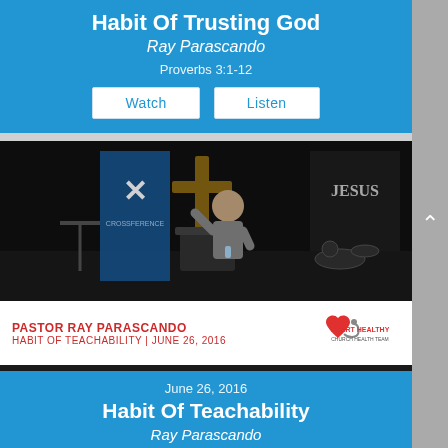Habit Of Trusting God
Ray Parascando
Proverbs 3:1-12
[Figure (screenshot): Watch and Listen buttons on blue background]
[Figure (photo): Photo of Pastor Ray Parascando speaking at a pulpit with a cross and banners in the background]
PASTOR RAY PARASCANDO — HABIT OF TEACHABILITY | JUNE 26, 2016
[Figure (logo): Heart Healthy church logo with heart and stethoscope]
June 26, 2016
Habit Of Teachability
Ray Parascando
Acts 18:24-28